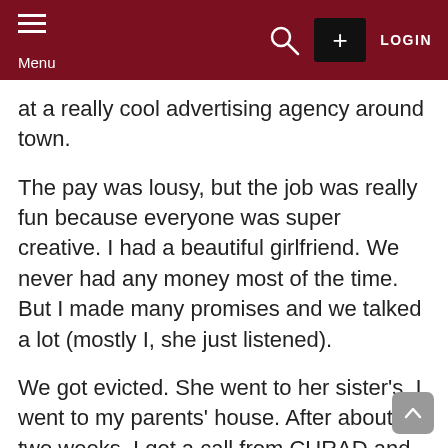Menu  [search] [+] LOGIN
at a really cool advertising agency around town.
The pay was lousy, but the job was really fun because everyone was super creative. I had a beautiful girlfriend. We never had any money most of the time. But I made many promises and we talked a lot (mostly I, she just listened).
We got evicted. She went to her sister's. I went to my parents' house. After about two weeks, I got a call from CURAD and eventually, they wrote me a cheque for UGX 2,000,000.
We moved to a new house. I started pushing